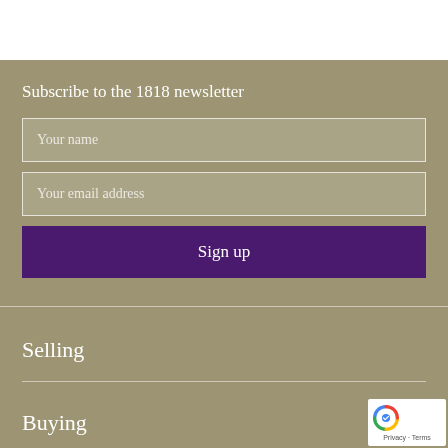Subscribe to the 1818 newsletter
Your name
Your email address
Sign up
Selling
Buying
Valuations